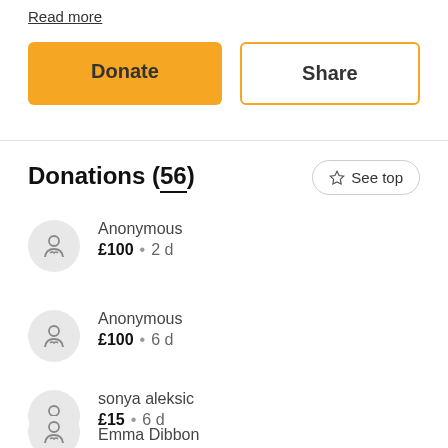Read more
Donate
Share
Donations (56)
See top
Anonymous £100 • 2 d
Anonymous £100 • 6 d
sonya aleksic £15 • 6 d
Emma Dibbon